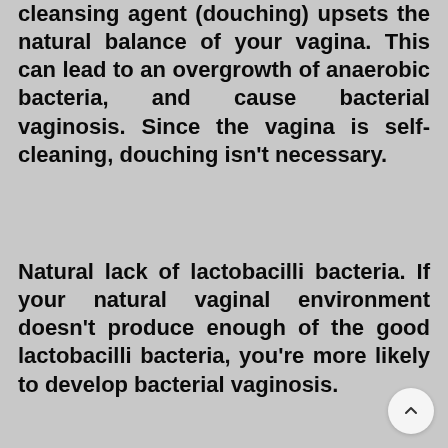cleansing agent (douching) upsets the natural balance of your vagina. This can lead to an overgrowth of anaerobic bacteria, and cause bacterial vaginosis. Since the vagina is self-cleaning, douching isn't necessary.
Natural lack of lactobacilli bacteria. If your natural vaginal environment doesn't produce enough of the good lactobacilli bacteria, you're more likely to develop bacterial vaginosis.